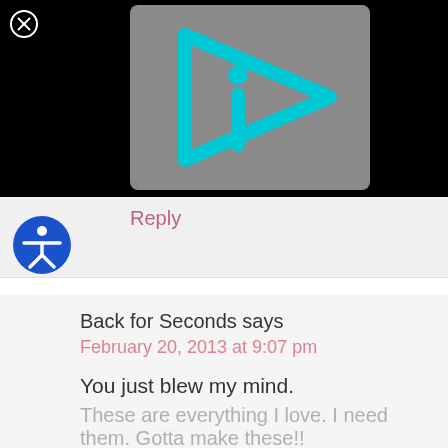[Figure (screenshot): Black background with gray video thumbnail showing a cyan/teal play button arrow with letter i inside, and a white circle X close button in top left]
Reply
[Figure (logo): Blue circle accessibility icon showing a person figure with outstretched arms]
Back for Seconds says
February 20, 2013 at 9:07 pm
You just blew my mind.
These are everything I love. I need them. Gotta make these!!